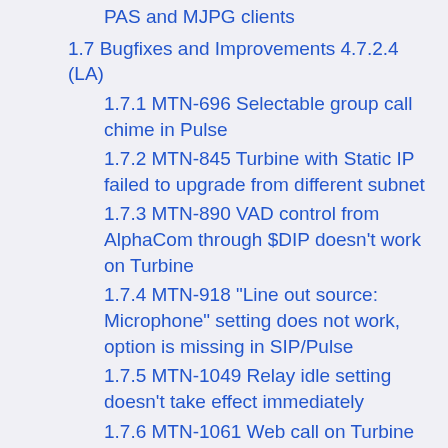PAS and MJPG clients
1.7 Bugfixes and Improvements 4.7.2.4 (LA)
1.7.1 MTN-696 Selectable group call chime in Pulse
1.7.2 MTN-845 Turbine with Static IP failed to upgrade from different subnet
1.7.3 MTN-890 VAD control from AlphaCom through $DIP doesn't work on Turbine
1.7.4 MTN-918 "Line out source: Microphone" setting does not work, option is missing in SIP/Pulse
1.7.5 MTN-1049 Relay idle setting doesn't take effect immediately
1.7.6 MTN-1061 Web call on Turbine should also handle Incoming/Ringing call
1.7.7 MTN-1107 802.1x certificate does